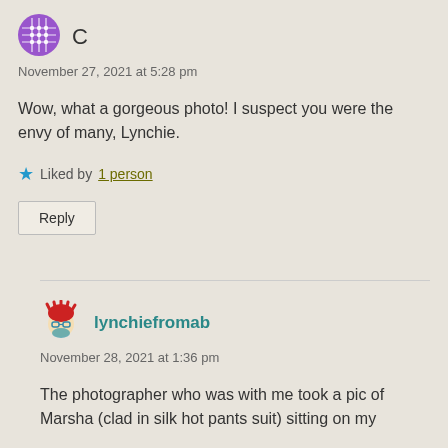[Figure (illustration): Purple avatar icon with grid/diamond pattern]
C
November 27, 2021 at 5:28 pm
Wow, what a gorgeous photo! I suspect you were the envy of many, Lynchie.
Liked by 1 person
Reply
[Figure (illustration): Cartoon avatar with red hair and glasses]
lynchiefromab
November 28, 2021 at 1:36 pm
The photographer who was with me took a pic of Marsha (clad in silk hot pants suit) sitting on my